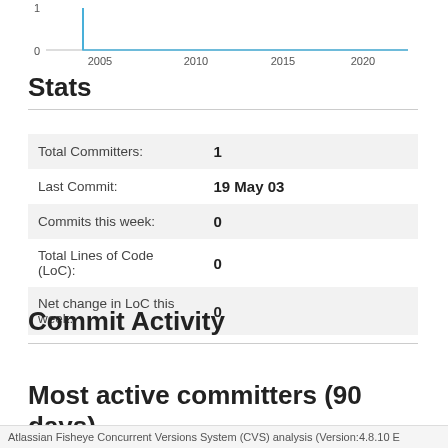[Figure (line-chart): Commit history]
Stats
|  |  |
| --- | --- |
| Total Committers: | 1 |
| Last Commit: | 19 May 03 |
| Commits this week: | 0 |
| Total Lines of Code (LoC): | 0 |
| Net change in LoC this week: | 0 |
Commit Activity
Most active committers (90 days)
Atlassian Fisheye Concurrent Versions System (CVS) analysis (Version:4.8.10 E